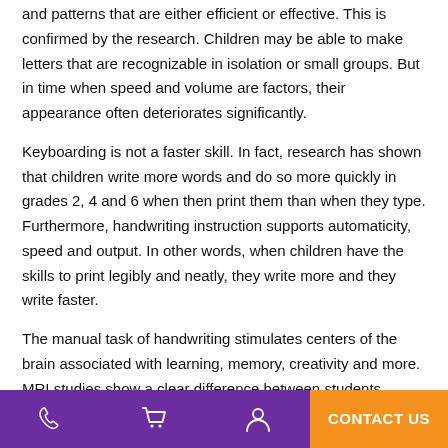and patterns that are either efficient or effective. This is confirmed by the research. Children may be able to make letters that are recognizable in isolation or small groups.  But in time when speed and volume are factors, their appearance often deteriorates significantly.
Keyboarding is not a faster skill. In fact, research has shown that children write more words and do so more quickly in grades 2, 4 and 6 when then print them than when they type. Furthermore, handwriting instruction supports automaticity, speed and output. In other words, when children have the skills to print legibly and neatly, they write more and they write faster.
The manual task of handwriting stimulates centers of the brain associated with learning, memory, creativity and more.  MRI studies show a clear difference between students taught to print
CONTACT US